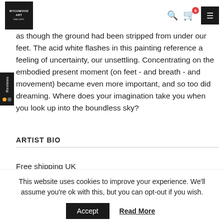Wychwood Art Gallery
as though the ground had been stripped from under our feet. The acid white flashes in this painting reference a feeling of uncertainty, our unsettling. Concentrating on the embodied present moment (on feet - and breath - and movement) became even more important, and so too did dreaming. Where does your imagination take you when you look up into the boundless sky?
ARTIST BIO
Free shipping UK
International delivery £50
FREE RETURNS WITHIN 14 DAYS
This website uses cookies to improve your experience. We'll assume you're ok with this, but you can opt-out if you wish.